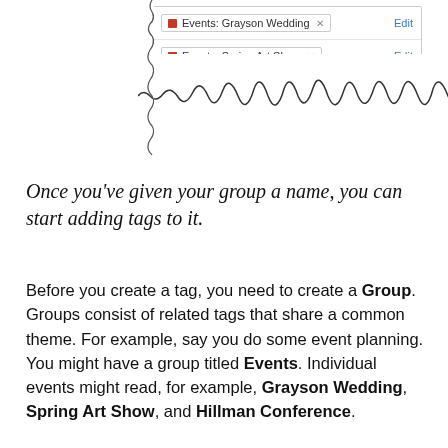[Figure (screenshot): UI screenshot showing two tag rows: 'Events: Grayson Wedding' with Edit link, and 'Events: Spring Art Show' with Edit link, with torn paper edge at bottom]
Once you've given your group a name, you can start adding tags to it.
Before you create a tag, you need to create a Group. Groups consist of related tags that share a common theme. For example, say you do some event planning. You might have a group titled Events. Individual events might read, for example, Grayson Wedding, Spring Art Show, and Hillman Conference.